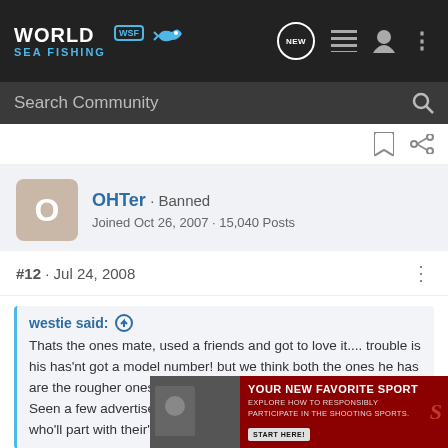World Sea Fishing (WSF) - Navigation bar with Search Community
OHTer · Banned
Joined Oct 26, 2007 · 15,040 Posts
#12 · Jul 24, 2008
westie said: ↑
Thats the ones mate, used a friends and got to love it.... trouble is his has'nt got a model number! but we think both the ones he has are the rougher ones.
Seen a few advertised various places and even know one or two who'll part with their's...
Sure the...
[Figure (photo): Advertisement banner: YOUR NEW FAVORITE SPORT - EXPLORE HOW TO RESPONSIBLY PARTICIPATE IN THE SHOOTING SPORTS. START HERE!]